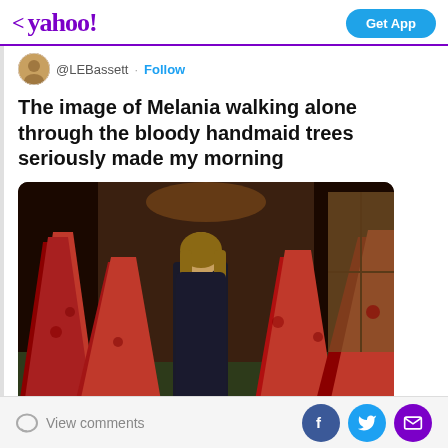< yahoo! | Get App
@LEBassett · Follow
The image of Melania walking alone through the bloody handmaid trees seriously made my morning
[Figure (photo): Photo of Melania Trump walking through a hallway lined with large red Christmas trees, wearing a dark coat]
View comments